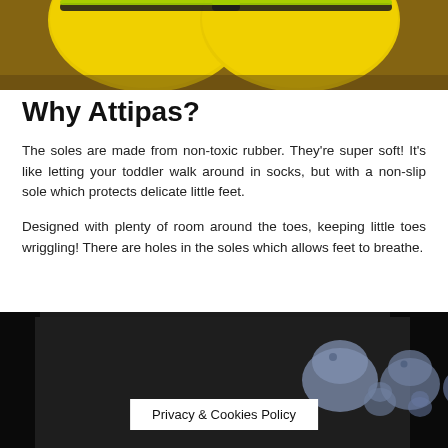[Figure (photo): Yellow baby shoes/slippers on a wicker basket background, top portion cropped]
Why Attipas?
The soles are made from non-toxic rubber. They're super soft! It's like letting your toddler walk around in socks, but with a non-slip sole which protects delicate little feet.
Designed with plenty of room around the toes, keeping little toes wriggling! There are holes in the soles which allows feet to breathe.
[Figure (photo): Dark packaging box with blue cartoon animal (hippo/pig) silhouettes printed on it]
Privacy & Cookies Policy